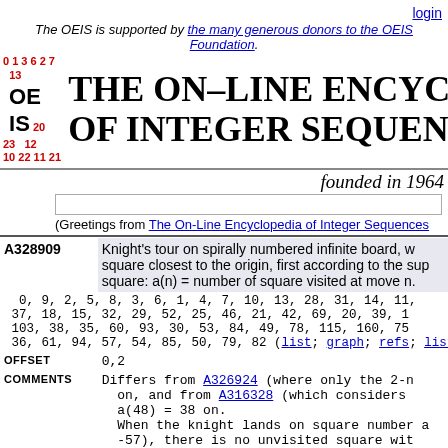login
The OEIS is supported by the many generous donors to the OEIS Foundation.
[Figure (logo): OEIS logo with numbers and text THE ON-LINE ENCYCLOPEDIA OF INTEGER SEQUENCES]
founded in 1964
(Greetings from The On-Line Encyclopedia of Integer Sequences)
| ID | Description |
| --- | --- |
| A328909 | Knight's tour on spirally numbered infinite board, where the knight moves to the unvisited square closest to the origin, first according to the supremum metric, then choosing the smallest square: a(n) = number of square visited at move n. |
|  | 0, 9, 2, 5, 8, 3, 6, 1, 4, 7, 10, 13, 28, 31, 14, 11, 37, 18, 15, 32, 29, 52, 25, 46, 21, 42, 69, 20, 39, 1 103, 38, 35, 60, 93, 30, 53, 84, 49, 78, 115, 160, 75 36, 61, 94, 57, 54, 85, 50, 79, 82 |
| OFFSET | 0,2 |
| COMMENTS | Differs from A326924 (where only the 2-norm is used) starting at a(1)=... on, and from A316328 (which considers ... a(48) = 38 on. When the knight lands on square number a... -57), there is no unvisited square wit... |